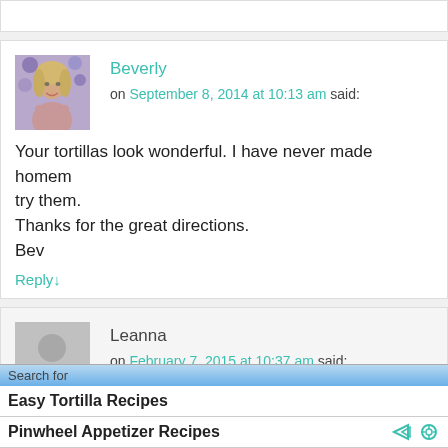Beverly on September 8, 2014 at 10:13 am said:
Your tortillas look wonderful. I have never made homem... try them.
Thanks for the great directions.
Bev
Reply↓
Leanna on February 7, 2015 at 10:37 am said:
Search for
Easy Tortilla Recipes
Pinwheel Appetizer Recipes